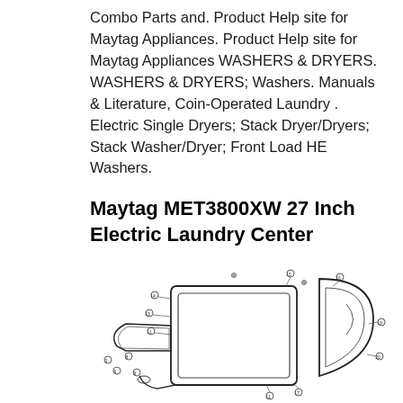Combo Parts and. Product Help site for Maytag Appliances. Product Help site for Maytag Appliances WASHERS & DRYERS. WASHERS & DRYERS; Washers. Manuals & Literature, Coin-Operated Laundry . Electric Single Dryers; Stack Dryer/Dryers; Stack Washer/Dryer; Front Load HE Washers.
Maytag MET3800XW 27 Inch Electric Laundry Center
[Figure (engineering-diagram): Exploded parts diagram of a Maytag laundry center door assembly showing numbered components including door frame, door panel, gasket/seal, hinge parts, and door catch components with callout lines and part numbers.]